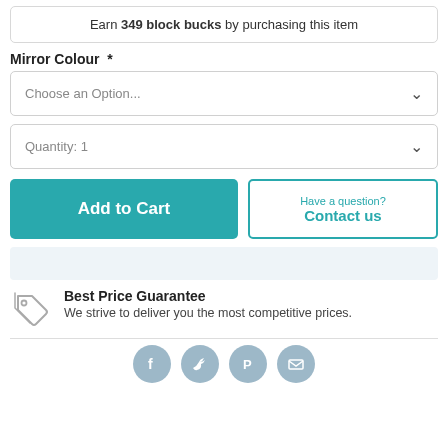Earn 349 block bucks by purchasing this item
Mirror Colour *
Choose an Option...
Quantity: 1
Add to Cart
Have a question? Contact us
Best Price Guarantee
We strive to deliver you the most competitive prices.
[Figure (illustration): Four social media icon circles (Facebook, Twitter, Pinterest, Email) in grey-blue at the bottom of the page]